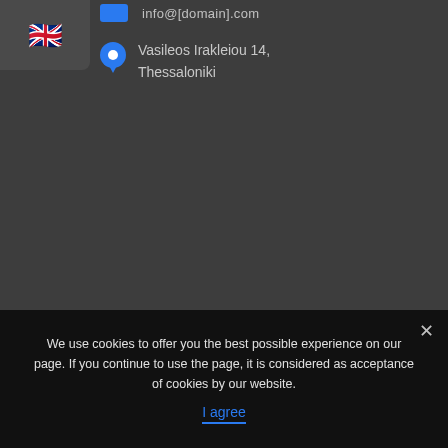[Figure (illustration): UK flag emoji inside a dark rounded box in the top-left corner]
info@[domain].com
Vasileos Irakleiou 14, Thessaloniki
We use cookies to offer you the best possible experience on our page. If you continue to use the page, it is considered as acceptance of cookies by our website.
I agree